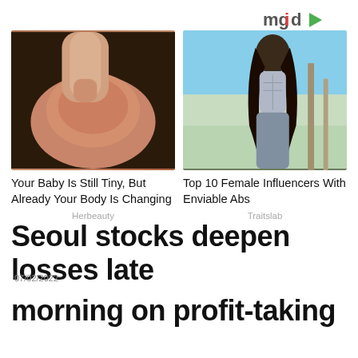[Figure (logo): mgid logo with colorful letters and play button icon, top right corner]
[Figure (photo): Close-up photo of a finger touching something skin-colored on a dark background, left ad image]
Your Baby Is Still Tiny, But Already Your Body Is Changing
Herbeauty
[Figure (photo): Photo of a fit woman with dark hair in a gray sports bra showing abs, outdoor background]
Top 10 Female Influencers With Enviable Abs
Traitslab
Seoul stocks deepen losses late morning on profit-taking
07/02/2022